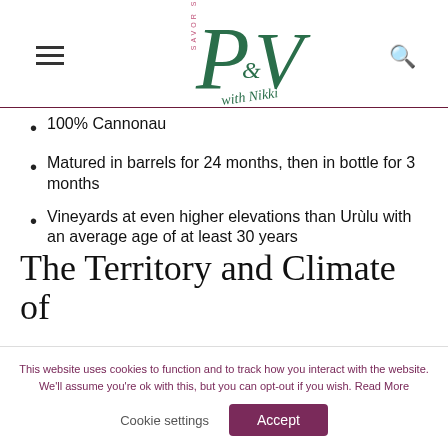SAVOR SI — P&V logo with navigation
100% Cannonau
Matured in barrels for 24 months, then in bottle for 3 months
Vineyards at even higher elevations than Urùlu with an average age of at least 30 years
The Territory and Climate of
This website uses cookies to function and to track how you interact with the website. We'll assume you're ok with this, but you can opt-out if you wish. Read More
Cookie settings    Accept